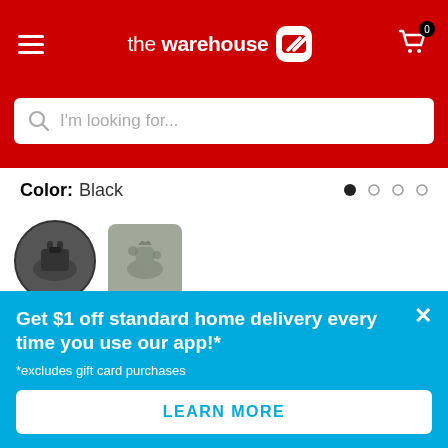The Warehouse - header navigation
I'm looking for...
Color: Black
[Figure (photo): Two sports bra product thumbnails: first is a black sports bra shown in a circle (selected), second is a grey/camo sports bra thumbnail]
Size: Select size
Get $1 off standard home delivery every time you use our app!*
*excludes gift card purchases
LEARN MORE